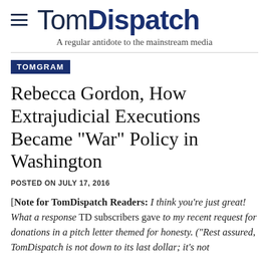TomDispatch — A regular antidote to the mainstream media
TOMGRAM
Rebecca Gordon, How Extrajudicial Executions Became "War" Policy in Washington
POSTED ON JULY 17, 2016
[Note for TomDispatch Readers: I think you're just great! What a response TD subscribers gave to my recent request for donations in a pitch letter themed for honesty. ("Rest assured, TomDispatch is not down to its last dollar; it's not